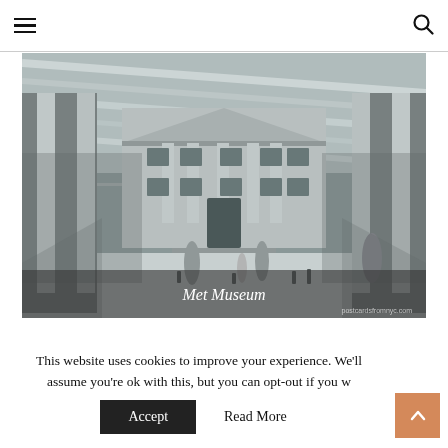Navigation header with hamburger menu and search icon
[Figure (photo): Interior of the Metropolitan Museum of Art (Met Museum) in New York, black and white photograph showing the grand hall with glass ceiling, neoclassical building facade inside, statues, and visitors. Caption overlay reads 'Met Museum'. Watermark: postcardsfromnyc.com]
Met Museum
This website uses cookies to improve your experience. We'll assume you're ok with this, but you can opt-out if you w
Accept   Read More